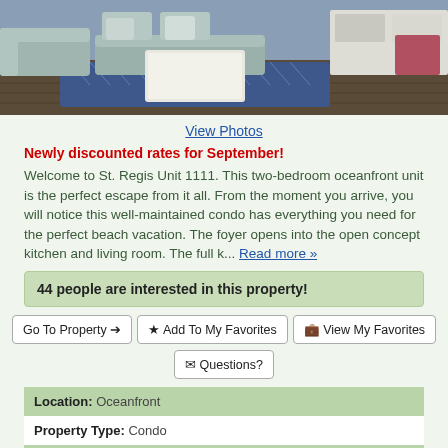[Figure (photo): Interior photo of a beach condo living room with light blue/grey sofas, a white coffee table, blue patterned rug, and white cabinetry in the background.]
View Photos
Newly discounted rates for September!
Welcome to St. Regis Unit 1111. This two-bedroom oceanfront unit is the perfect escape from it all. From the moment you arrive, you will notice this well-maintained condo has everything you need for the perfect beach vacation. The foyer opens into the open concept kitchen and living room. The full k... Read more »
44 people are interested in this property!
Go To Property →
★ Add To My Favorites
🖶 View My Favorites
✉ Questions?
| Location: | Oceanfront |
| Property Type: | Condo |
| Sleeps: 8 | Bedrooms: 2 |
| Beds: | K, Q, T Bunk, QSS |